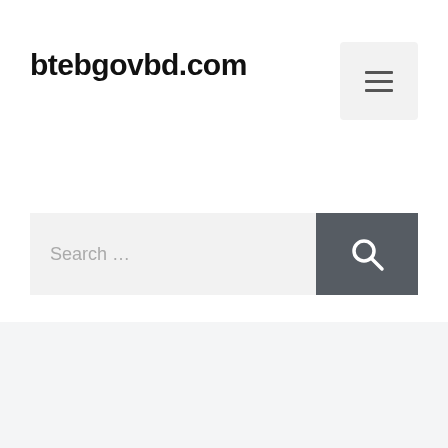btebgovbd.com
[Figure (other): Hamburger menu button icon with three horizontal lines]
Search …